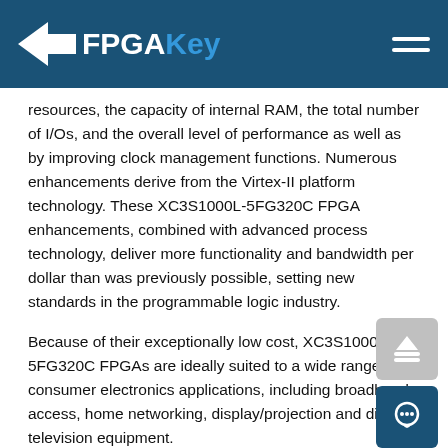FPGAKey
resources, the capacity of internal RAM, the total number of I/Os, and the overall level of performance as well as by improving clock management functions. Numerous enhancements derive from the Virtex-II platform technology. These XC3S1000L-5FG320C FPGA enhancements, combined with advanced process technology, deliver more functionality and bandwidth per dollar than was previously possible, setting new standards in the programmable logic industry.
Because of their exceptionally low cost, XC3S1000L-5FG320C FPGAs are ideally suited to a wide range of consumer electronics applications, including broadband access, home networking, display/projection and digital television equipment.
The XC3S1000L-5FG320C is a superior alternative to mask programmed ASICs. avoid the high initial cost, the len development cycles, and the inherent inflexibility of